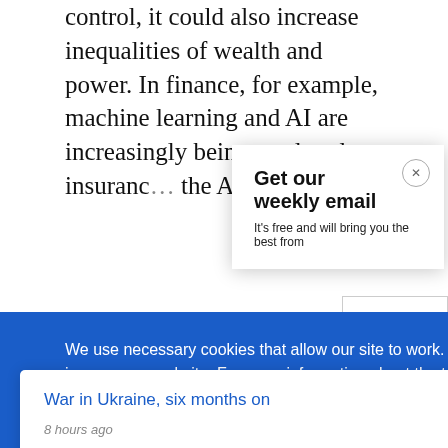control, it could also increase inequalities of wealth and power. In finance, for example, machine learning and AI are increasingly being used to d… insurance… the Apple…
Get our weekly email
It's free and will bring you the best from
We use necessary cookies that allow our site to work. We also set optional cookies that help us improve our website. For more information about the types of cookies we use. READ OUR COOKIES POLICY HERE
COOKIE
ALLOW
War in Ukraine, six months on
8 hours ago
S
data.